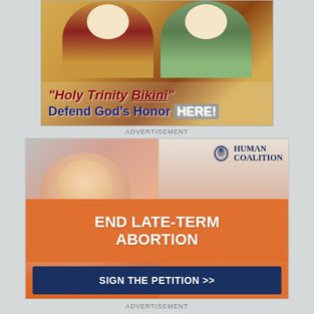[Figure (illustration): Advertisement for 'Holy Trinity Bikini' with religious figures/Byzantine-style imagery in background, text overlay reading '"Holy Trinity Bikini" Defend God's Honor HERE!']
ADVERTISEMENT
[Figure (photo): Human Coalition advertisement showing a baby/infant being held, with text 'END LATE-TERM ABORTION' and a 'SIGN THE PETITION >>' button on orange/navy background, Human Coalition logo top right]
ADVERTISEMENT